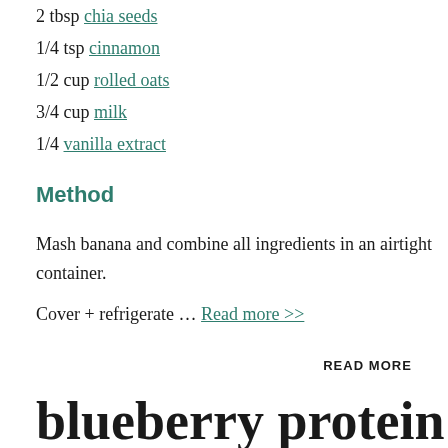2 tbsp chia seeds
1/4 tsp cinnamon
1/2 cup rolled oats
3/4 cup milk
1/4 vanilla extract
Method
Mash banana and combine all ingredients in an airtight container.
Cover + refrigerate … Read more >>
READ MORE
blueberry protein